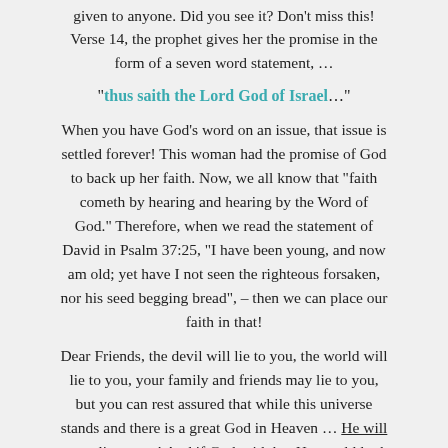given to anyone. Did you see it? Don't miss this! Verse 14, the prophet gives her the promise in the form of a seven word statement, …
“thus saith the Lord God of Israel…”
When you have God’s word on an issue, that issue is settled forever! This woman had the promise of God to back up her faith. Now, we all know that “faith cometh by hearing and hearing by the Word of God.” Therefore, when we read the statement of David in Psalm 37:25, “I have been young, and now am old; yet have I not seen the righteous forsaken, nor his seed begging bread”, – then we can place our faith in that!
Dear Friends, the devil will lie to you, the world will lie to you, your family and friends may lie to you, but you can rest assured that while this universe stands and there is a great God in Heaven … He will never lie to you! And if God said that He would look